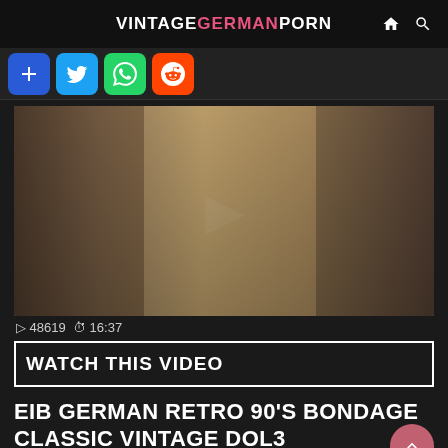VINTAGEGERMANPORN
[Figure (screenshot): Video thumbnail showing three people in a bondage scene]
▷ 48619 ⏱ 16:37
WATCH THIS VIDEO
EIB GERMAN RETRO 90'S BONDAGE CLASSIC VINTAGE DOL3
◇ GERMAN   ◇ BONDAGE   ◇ RETRO   ◇ VINTAGE   ◇ 90S